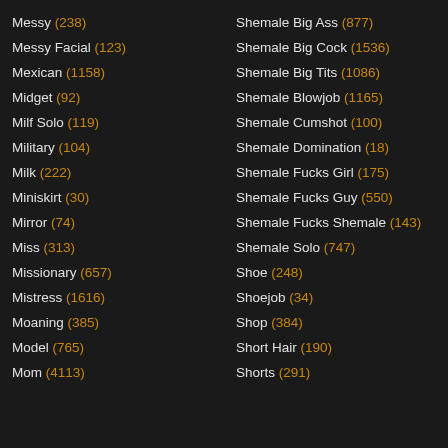Messy (238)
Messy Facial (123)
Mexican (1158)
Midget (92)
Milf Solo (119)
Military (104)
Milk (222)
Miniskirt (30)
Mirror (74)
Miss (313)
Missionary (657)
Mistress (1616)
Moaning (385)
Model (765)
Mom (4113)
Shemale Big Ass (877)
Shemale Big Cock (1536)
Shemale Big Tits (1086)
Shemale Blowjob (1165)
Shemale Cumshot (100)
Shemale Domination (18)
Shemale Fucks Girl (175)
Shemale Fucks Guy (550)
Shemale Fucks Shemale (143)
Shemale Solo (747)
Shoe (248)
Shoejob (34)
Shop (384)
Short Hair (190)
Shorts (291)